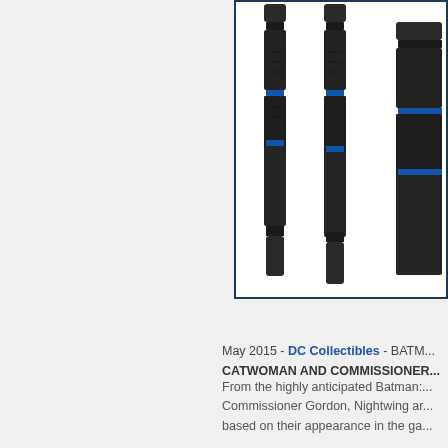[Figure (photo): Three black batons or staffs with blue accent rings, displayed against a white background inside a dark blue border frame. The items appear to be collectible accessories, likely Nightwing's escrima sticks from Batman: Arkham Knight.]
May 2015 - DC Collectibles - BATM... CATWOMAN AND COMMISSIONER...
From the highly anticipated Batman:... Commissioner Gordon, Nightwing ar... based on their appearance in the ga...